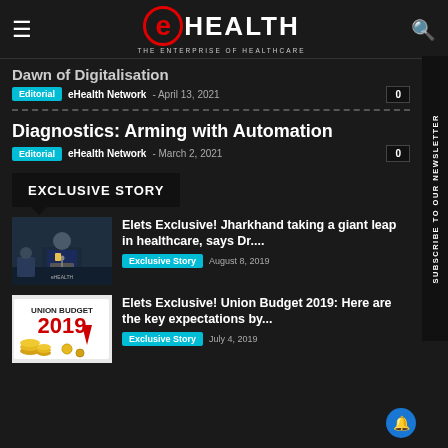eHEALTH — THE ENTERPRISE OF HEALTHCARE
Dawn of Digitalisation
Editorial   eHealth Network  -  April 13, 2021   0
Diagnostics: Arming with Automation
Editorial   eHealth Network  -  March 2, 2021   0
EXCLUSIVE STORY
[Figure (photo): Man speaking at a podium at a healthcare event]
Elets Exclusive! Jharkhand taking a giant leap in healthcare, says Dr....   Exclusive Story   August 8, 2019
[Figure (photo): Union Budget 2019 graphic with coins]
Elets Exclusive! Union Budget 2019: Here are the key expectations by...   Exclusive Story   July 4, 2019